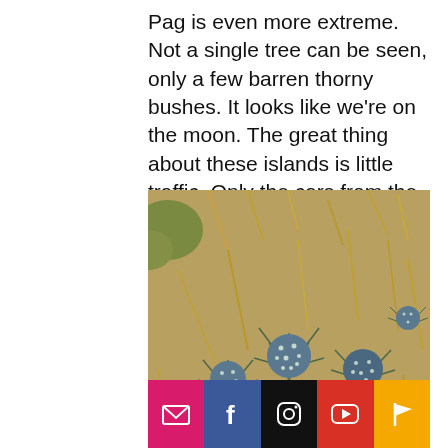Pag is even more extreme. Not a single tree can be seen, only a few barren thorny bushes. It looks like we're on the moon. The great thing about these islands is little traffic. Only the cars from the ferry pass in a row every 2 hours.
[Figure (photo): Close-up photo of blue-green spiky thistle-like plants (Eryngium) with round spiny flower heads and sharp pointed bracts, against a dry straw-colored background typical of Mediterranean island vegetation.]